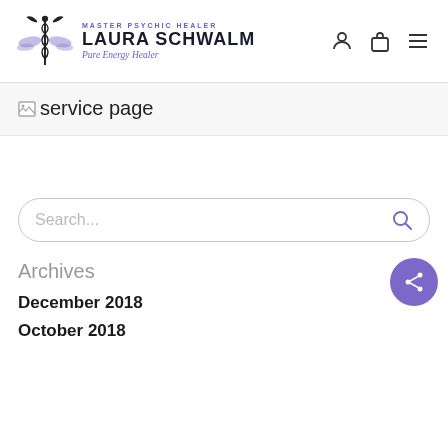MASTER PSYCHIC HEALER LAURA SCHWALM Pure Energy Healer
[Figure (logo): Caduceus logo with wings and the text MASTER PSYCHIC HEALER LAURA SCHWALM Pure Energy Healer]
[Figure (screenshot): Broken image placeholder with alt text 'service page']
service page
Search...
Archives
December 2018
October 2018